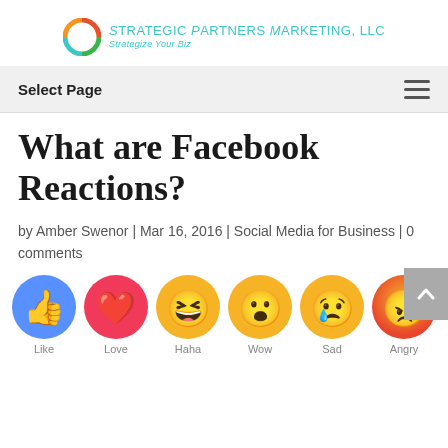[Figure (logo): Strategic Partners Marketing LLC logo with colorful circle icon and teal text]
Select Page
What are Facebook Reactions?
by Amber Swenor | Mar 16, 2016 | Social Media for Business | 0 comments
[Figure (illustration): Facebook Reactions emoji row: Like (blue thumbs up), Love (red heart), Haha (laughing face), Wow (surprised face), Sad (teary face), Angry (red angry face), each with label below]